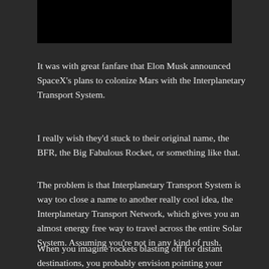[Figure (photo): Black rectangle image block at the top of the page]
It was with great fanfare that Elon Musk announced SpaceX's plans to colonize Mars with the Interplanetary Transport System.
I really wish they'd stuck to their original name, the BFR, the Big Fabulous Rocket, or something like that.
The problem is that Interplanetary Transport System is way too close a name to another really cool idea, the Interplanetary Transport Network, which gives you an almost energy free way to travel across the entire Solar System. Assuming you're not in any kind of rush.
When you imagine rockets blasting off for distant destinations, you probably envision pointing your rocket at your destination, firing the thrusters until you got